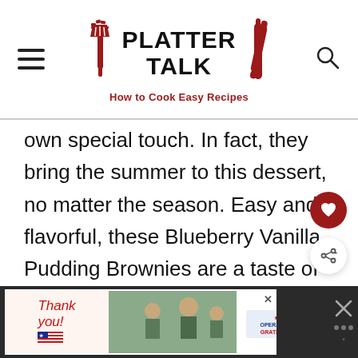PLATTER TALK — How to Cook Easy Recipes
own special touch. In fact, they bring the summer to this dessert, no matter the season. Easy and flavorful, these Blueberry Vanilla Pudding Brownies are a taste of summer you're going to want to try any time of the year. Happy summer to you, regardless of the date!  -Dan
[Figure (other): Advertisement banner for Operation Gratitude featuring 'Thank you!' text with American flag imagery and military personnel photo]